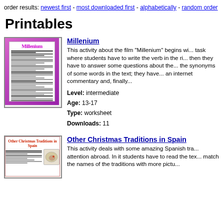order results: newest first - most downloaded first - alphabetically - random order
Printables
[Figure (illustration): Thumbnail preview of Millenium worksheet with purple/pink gradient background and white inner page]
Millenium
This activity about the film "Millenium" begins wi... task where students have to write the verb in the ri... then they have to answer some questions about the... the synonyms of some words in the text; they have... an internet commentary and, finally...
Level: intermediate
Age: 13-17
Type: worksheet
Downloads: 11
[Figure (illustration): Thumbnail preview of Other Christmas Traditions in Spain worksheet with red title and map]
Other Christmas Traditions in Spain
This activity deals with some amazing Spanish tra... attention abroad. In it students have to read the tex... match the names of the traditions with more pictu...